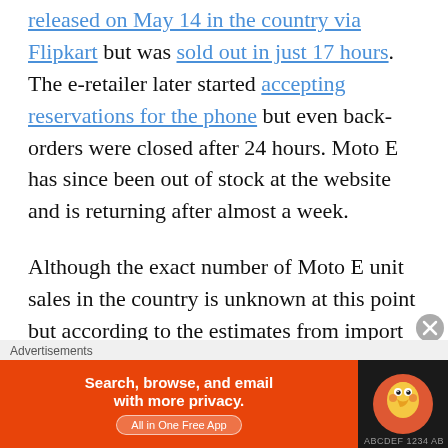released on May 14 in the country via Flipkart but was sold out in just 17 hours. The e-retailer later started accepting reservations for the phone but even back-orders were closed after 24 hours. Moto E has since been out of stock at the website and is returning after almost a week.
Although the exact number of Moto E unit sales in the country is unknown at this point but according to the estimates from import data website Zauba.com, Flipkart has shipped over 1 lakh units of Moto E since the launch (over 50K
[Figure (other): Close/dismiss button (circled X) overlaid on content]
Advertisements
[Figure (infographic): DuckDuckGo advertisement banner: orange left section with text 'Search, browse, and email with more privacy. All in One Free App', black right section with DuckDuckGo duck logo]